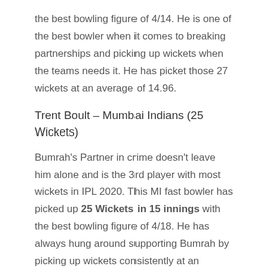the best bowling figure of 4/14. He is one of the best bowler when it comes to breaking partnerships and picking up wickets when the teams needs it. He has picket those 27 wickets at an average of 14.96.
Trent Boult – Mumbai Indians (25 Wickets)
Bumrah's Partner in crime doesn't leave him alone and is the 3rd player with most wickets in IPL 2020. This MI fast bowler has picked up 25 Wickets in 15 innings with the best bowling figure of 4/18. He has always hung around supporting Bumrah by picking up wickets consistently at an average of 18.28.
Anrich Nortje – Delhi Capitals (22 Wickets)